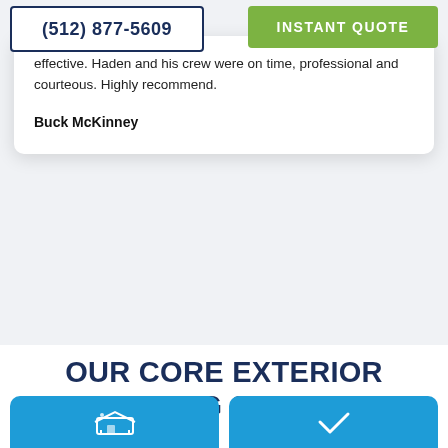(512) 877-5609
INSTANT QUOTE
effective. Haden and his crew were on time, professional and courteous. Highly recommend.
Buck McKinney
OUR CORE EXTERIOR CLEANING SERVICES
[Figure (illustration): Two blue rounded rectangle cards at the bottom with white icons — left card shows a house/surface cleaning icon, right card shows a checkmark/window icon]